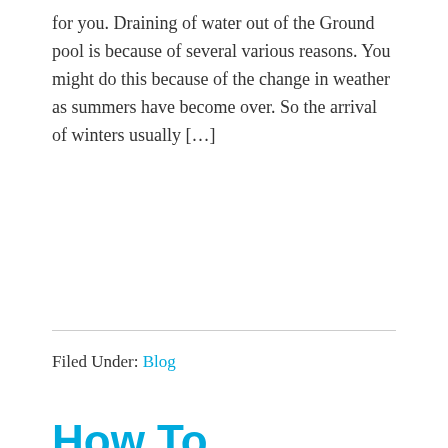for you. Draining of water out of the Ground pool is because of several various reasons. You might do this because of the change in weather as summers have become over. So the arrival of winters usually [...]
Filed Under: Blog
How To Winterize An Above Ground Pool? Step By Step Guide